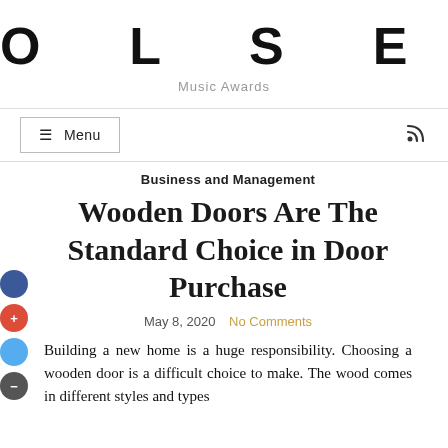OLSEN
Music Awards
Business and Management
Wooden Doors Are The Standard Choice in Door Purchase
May 8, 2020   No Comments
Building a new home is a huge responsibility. Choosing a wooden door is a difficult choice to make. The wood comes in different styles and types